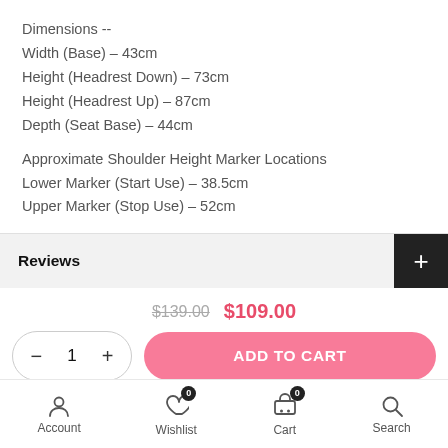Dimensions --
Width (Base) – 43cm
Height (Headrest Down) – 73cm
Height (Headrest Up) – 87cm
Depth (Seat Base) – 44cm

Approximate Shoulder Height Marker Locations
Lower Marker (Start Use) – 38.5cm
Upper Marker (Stop Use) – 52cm
Reviews
$139.00  $109.00
– 1 +  ADD TO CART
Account  Wishlist  Cart  Search